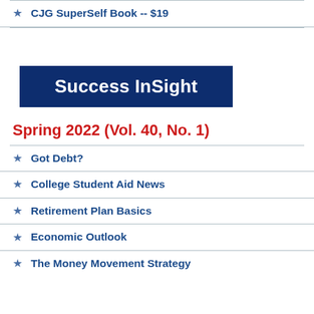CJG SuperSelf Book -- $19
Success InSight
Spring 2022 (Vol. 40, No. 1)
Got Debt?
College Student Aid News
Retirement Plan Basics
Economic Outlook
The Money Movement Strategy